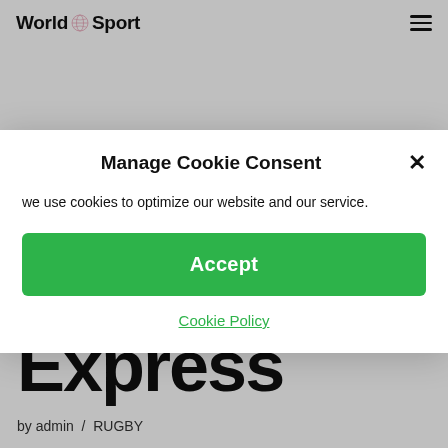World Sport
Express
by admin  /  RUGBY
Manage Cookie Consent
we use cookies to optimize our website and our service.
Accept
Cookie Policy